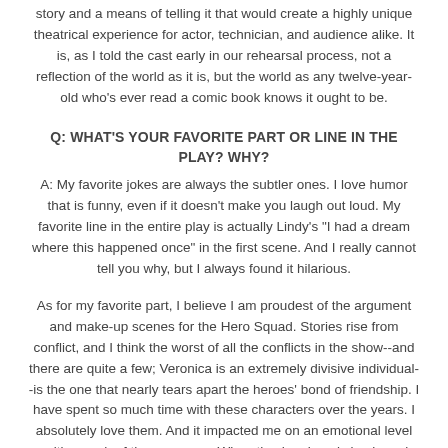story and a means of telling it that would create a highly unique theatrical experience for actor, technician, and audience alike. It is, as I told the cast early in our rehearsal process, not a reflection of the world as it is, but the world as any twelve-year-old who's ever read a comic book knows it ought to be.
Q: WHAT'S YOUR FAVORITE PART OR LINE IN THE PLAY? WHY?
A: My favorite jokes are always the subtler ones. I love humor that is funny, even if it doesn't make you laugh out loud. My favorite line in the entire play is actually Lindy's "I had a dream where this happened once" in the first scene. And I really cannot tell you why, but I always found it hilarious.
As for my favorite part, I believe I am proudest of the argument and make-up scenes for the Hero Squad. Stories rise from conflict, and I think the worst of all the conflicts in the show--and there are quite a few; Veronica is an extremely divisive individual--is the one that nearly tears apart the heroes' bond of friendship. I have spent so much time with these characters over the years. I absolutely love them. And it impacted me on an emotional level writing each of those scenes. When they're played simply and with sincerity, I think they're quite powerful, and I believe they hit a nerve that all kids (really, all of us) deal with in their own day-to-day relationships. The conflict also helps keep the characters emotionally rooted in reality, which is important, I think, since it could be easy to get swept away in